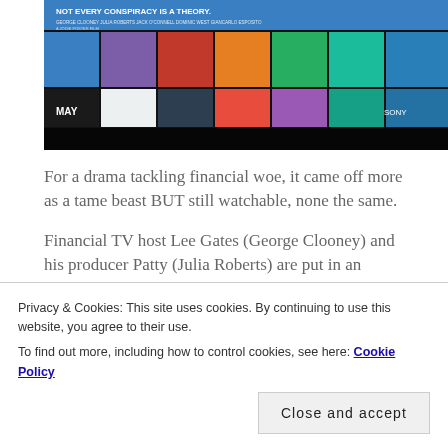[Figure (photo): Movie poster for a film with colorful mosaic tile squares and text 'NOT EVERY CONSPIRACY IS A THEORY.' with MAY and SONY branding]
For a drama tackling financial woe, it came off more as a tame beast BUT still watchable, none the same.
Financial TV host Lee Gates (George Clooney) and his producer Patty (Julia Roberts) are put in an extreme situation when an irate investor (Jack O'Connell) takes over their studio.
I originally avoided this at the cinema. The trailers did
Privacy & Cookies: This site uses cookies. By continuing to use this website, you agree to their use.
To find out more, including how to control cookies, see here: Cookie Policy
Close and accept